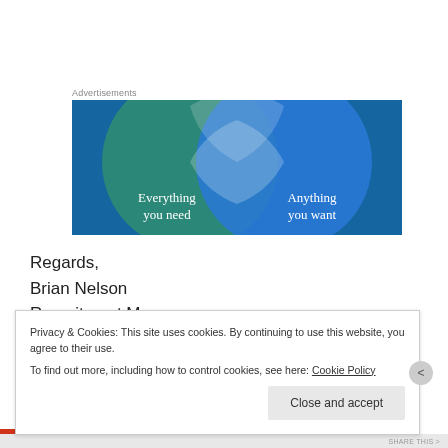Advertisements
[Figure (illustration): Advertisement banner showing two overlapping circles (Venn diagram style) — left circle is teal/green with text 'Everything you need', right circle is blue with text 'Anything you want', overlapping area is light/white, on a dark blue background.]
Regards,
Brian Nelson
Recruitment Manager
Privacy & Cookies: This site uses cookies. By continuing to use this website, you agree to their use.
To find out more, including how to control cookies, see here: Cookie Policy
Close and accept